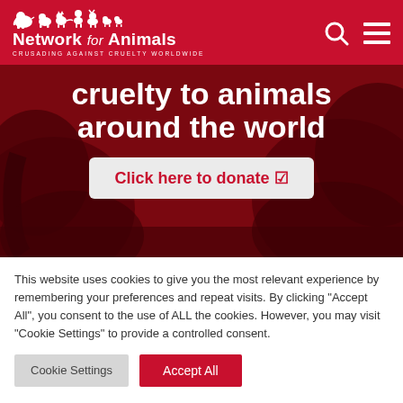Network for Animals — CRUSADING AGAINST CRUELTY WORLDWIDE
[Figure (screenshot): Hero image with red-tinted elephant photograph background, large white text reading 'cruelty to animals around the world', and a light-colored donate button]
cruelty to animals around the world
Click here to donate ☑
This website uses cookies to give you the most relevant experience by remembering your preferences and repeat visits. By clicking "Accept All", you consent to the use of ALL the cookies. However, you may visit "Cookie Settings" to provide a controlled consent.
Cookie Settings | Accept All